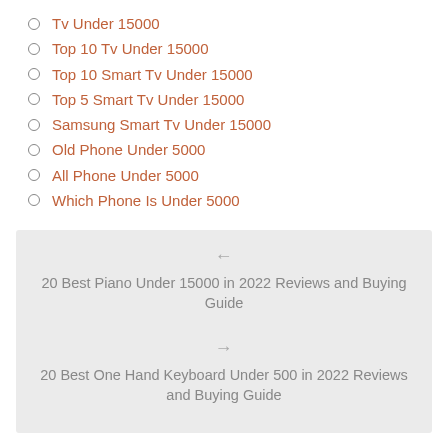Tv Under 15000
Top 10 Tv Under 15000
Top 10 Smart Tv Under 15000
Top 5 Smart Tv Under 15000
Samsung Smart Tv Under 15000
Old Phone Under 5000
All Phone Under 5000
Which Phone Is Under 5000
← 20 Best Piano Under 15000 in 2022 Reviews and Buying Guide
→ 20 Best One Hand Keyboard Under 500 in 2022 Reviews and Buying Guide